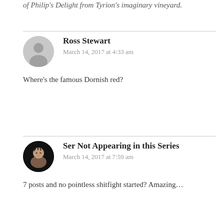of Philip's Delight from Tyrion's imaginary vineyard.
Ross Stewart
March 14, 2017 at 4:33 am
Where's the famous Dornish red?
Ser Not Appearing in this Series
March 14, 2017 at 7:59 am
7 posts and no pointless shitfight started? Amazing...